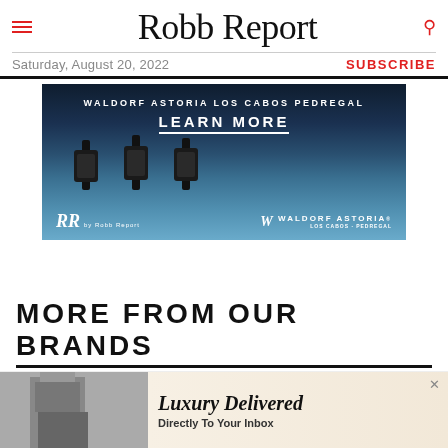Robb Report
Saturday, August 20, 2022
SUBSCRIBE
[Figure (photo): Advertisement for Waldorf Astoria Los Cabos Pedregal showing lanterns against ocean twilight backdrop, with text 'WALDORF ASTORIA LOS CABOS PEDREGAL' and 'LEARN MORE', logos for RR by Robb Report and Waldorf Astoria at bottom]
MORE FROM OUR BRANDS
[Figure (photo): Partial banner image showing city skyline and a person in a yellow jacket]
[Figure (photo): Bottom advertisement: 'Luxury Delivered Directly To Your Inbox' with man in suit on left side, on a warm cream background]